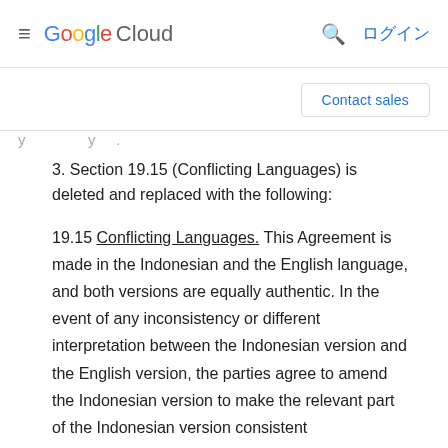Google Cloud  ログイン
Contact sales
3. Section 19.15 (Conflicting Languages) is deleted and replaced with the following:
19.15 Conflicting Languages. This Agreement is made in the Indonesian and the English language, and both versions are equally authentic. In the event of any inconsistency or different interpretation between the Indonesian version and the English version, the parties agree to amend the Indonesian version to make the relevant part of the Indonesian version consistent